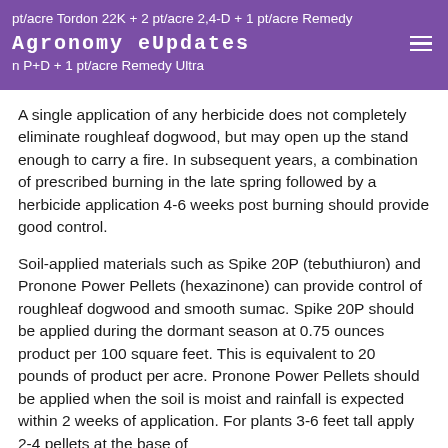pt/acre Tordon 22K + 2 pt/acre 2,4-D + 1 pt/acre Remedy
Agronomy eUpdates
+ 1 pt/acre Remedy Ultra
A single application of any herbicide does not completely eliminate roughleaf dogwood, but may open up the stand enough to carry a fire. In subsequent years, a combination of prescribed burning in the late spring followed by a herbicide application 4-6 weeks post burning should provide good control.
Soil-applied materials such as Spike 20P (tebuthiuron) and Pronone Power Pellets (hexazinone) can provide control of roughleaf dogwood and smooth sumac. Spike 20P should be applied during the dormant season at 0.75 ounces product per 100 square feet. This is equivalent to 20 pounds of product per acre. Pronone Power Pellets should be applied when the soil is moist and rainfall is expected within 2 weeks of application. For plants 3-6 feet tall apply 2-4 pellets at the base of